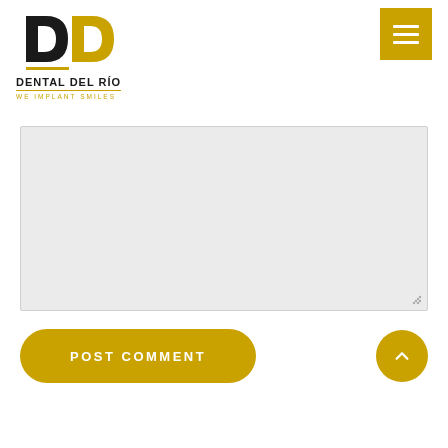[Figure (logo): Dental Del Río logo with stylized DD icon, company name and tagline WE IMPLANT SMILES]
[Figure (other): Gold/yellow hamburger menu button in top right corner]
[Figure (other): Large light gray comment textarea with resize handle in bottom right]
[Figure (other): POST COMMENT button in gold/yellow pill shape, and a gold circular scroll-to-top button with chevron arrow]